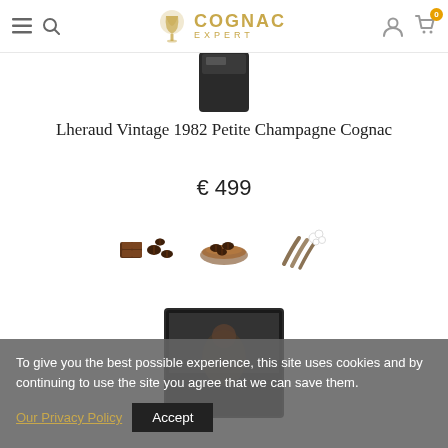Cognac Expert
[Figure (photo): Partial view of a dark cognac bottle top, cropped at the top of the page]
Lheraud Vintage 1982 Petite Champagne Cognac
€ 499
[Figure (photo): Three flavor/aroma icons: chocolate pieces with coffee beans, cocoa powder, and vanilla pods]
[Figure (photo): Partial view of a dark cognac gift box with a person image on it, partially obscured by the cookie banner]
To give you the best possible experience, this site uses cookies and by continuing to use the site you agree that we can save them. Our Privacy Policy  Accept